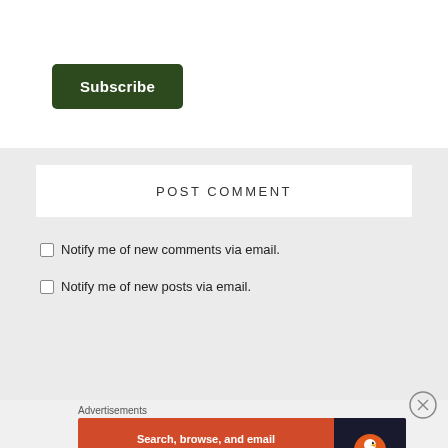×
Subscribe
POST COMMENT
Notify me of new comments via email.
Notify me of new posts via email.
Advertisements
[Figure (screenshot): DuckDuckGo advertisement banner: orange left section with text 'Search, browse, and email with more privacy. All in One Free App' and dark right section with DuckDuckGo duck logo]
⊗